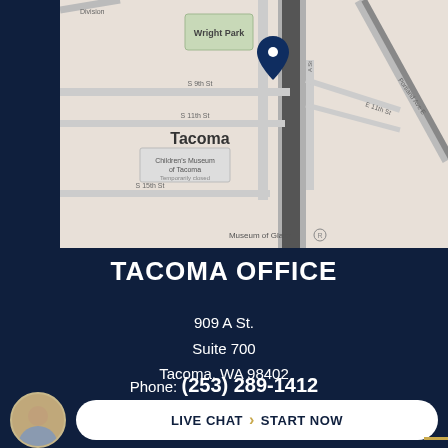[Figure (map): Street map of Tacoma, WA showing Wright Park area, S 9th St, S 11th St, S 15th St, Children's Museum of Tacoma, Museum of Glass, with a dark blue location pin marker.]
TACOMA OFFICE
909 A St.
Suite 700
Tacoma, WA 98402
Phone: (253) 289-1412
Fax: (253) 627-0654
LIVE CHAT › START NOW